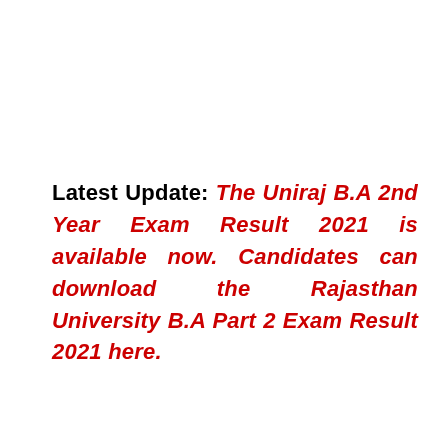Latest Update: The Uniraj B.A 2nd Year Exam Result 2021 is available now. Candidates can download the Rajasthan University B.A Part 2 Exam Result 2021 here.